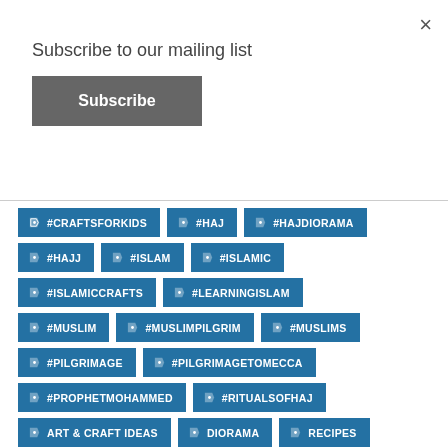×
Subscribe to our mailing list
Subscribe
#CRAFTSFORKIDS
#HAJ
#HAJDIORAMA
#HAJJ
#ISLAM
#ISLAMIC
#ISLAMICCRAFTS
#LEARNINGISLAM
#MUSLIM
#MUSLIMPILGRIM
#MUSLIMS
#PILGRIMAGE
#PILGRIMAGETOMECCA
#PROPHETMOHAMMED
#RITUALSOFHAJ
ART & CRAFT IDEAS
DIORAMA
RECIPES
RECYLING
RECYLING, REUSE, REDUCE.